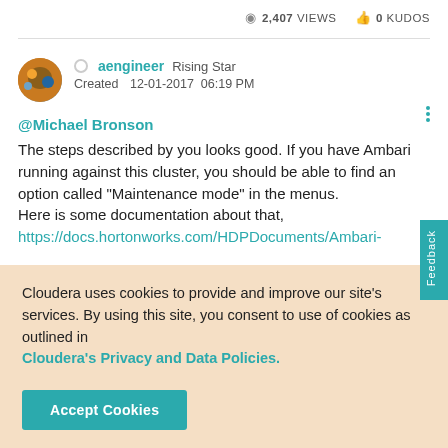2,407 VIEWS   0 KUDOS
aengineer  Rising Star
Created  12-01-2017  06:19 PM
@Michael Bronson
The steps described by you looks good. If you have Ambari running against this cluster, you should be able to find an option called "Maintenance mode" in the menus.
Here is some documentation about that,
https://docs.hortonworks.com/HDPDocuments/Ambari-
Cloudera uses cookies to provide and improve our site's services. By using this site, you consent to use of cookies as outlined in Cloudera's Privacy and Data Policies.
Accept Cookies